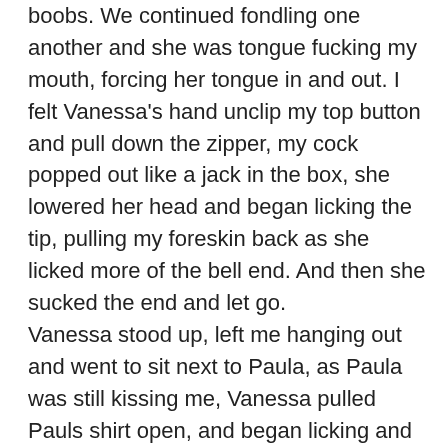boobs. We continued fondling one another and she was tongue fucking my mouth, forcing her tongue in and out. I felt Vanessa's hand unclip my top button and pull down the zipper, my cock popped out like a jack in the box, she lowered her head and began licking the tip, pulling my foreskin back as she licked more of the bell end. And then she sucked the end and let go.
Vanessa stood up, left me hanging out and went to sit next to Paula, as Paula was still kissing me, Vanessa pulled Pauls shirt open, and began licking and sucking on her tits, after a few moments Pauls began to react to this, she started to give out little squeaky sounds, like a large mouse. Paul's hand took hold of my balls, and squeezed them firmly, which made me wince, but it wasn't unpleasant. She kept squeezing them, like she was pumping something up.
I came up for air and managed to pull away a little from Pauls tongue fucking kissing, and I noticed as V was really going to